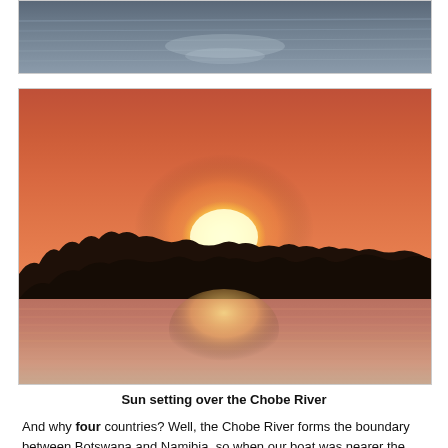[Figure (photo): Top cropped photo showing water surface with ripple reflections, appearing to be a river or lake shot, calm water with shimmering light.]
[Figure (photo): Sunset photo over the Chobe River showing a vivid orange-red sky, large white-yellow sun setting on the horizon behind a dark treeline silhouette with reeds in the water foreground, orange reflections in the river.]
Sun setting over the Chobe River
And why four countries? Well, the Chobe River forms the boundary between Botswana and Namibia, so when our boat was nearer the